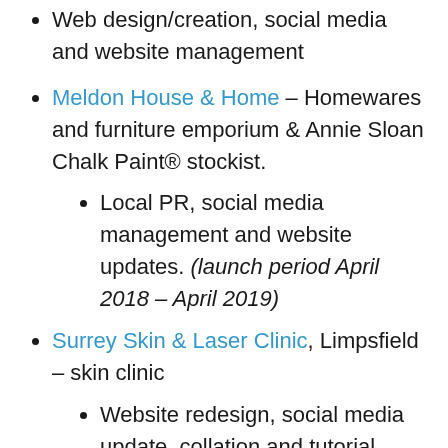Web design/creation, social media and website management
Meldon House & Home – Homewares and furniture emporium & Annie Sloan Chalk Paint® stockist.
Local PR, social media management and website updates. (launch period April 2018 – April 2019)
Surrey Skin & Laser Clinic, Limpsfield – skin clinic
Website redesign, social media update, collation and tutorial (project)
Payne & Co. Ltd estate agents (Oxted)
Social media set-up, coordination and